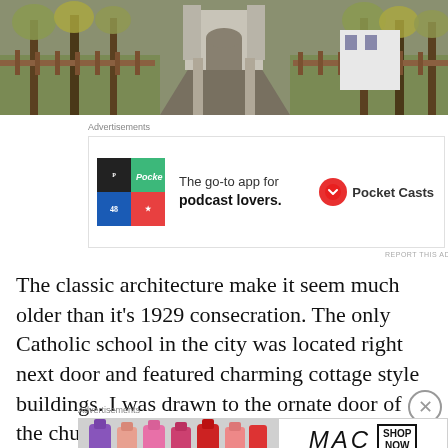[Figure (photo): Exterior photo of a church seen from a pathway through trees; wooden fence visible; autumn foliage; cloudy sky]
[Figure (other): Advertisement for Pocket Casts app — 'The go-to app for podcast lovers.' with colorful grid icon and Pocket Casts logo]
The classic architecture make it seem much older than it's 1929 consecration.  The only Catholic school in the city was located right next door and featured charming cottage style buildings.  I was drawn to the ornate door of the church, which had a unique handle that the door had been modified around.
[Figure (other): Advertisement for MAC cosmetics showing lipsticks and MAC logo with SHOP NOW box]